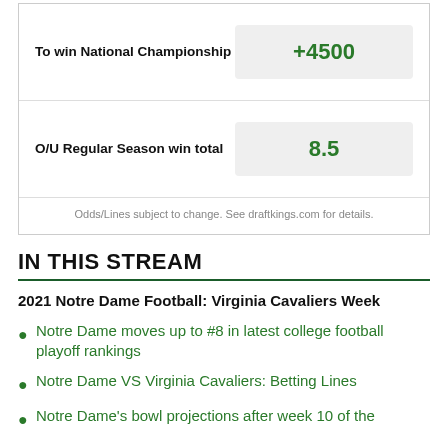|  | Odds |
| --- | --- |
| To win National Championship | +4500 |
| O/U Regular Season win total | 8.5 |
Odds/Lines subject to change. See draftkings.com for details.
IN THIS STREAM
2021 Notre Dame Football: Virginia Cavaliers Week
Notre Dame moves up to #8 in latest college football playoff rankings
Notre Dame VS Virginia Cavaliers: Betting Lines
Notre Dame's bowl projections after week 10 of the